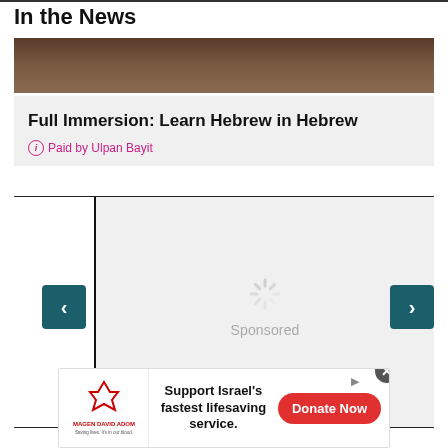In the News
[Figure (photo): Dark brown background image, likely a book or wooden surface]
Full Immersion: Learn Hebrew in Hebrew
ⓘ Paid by Ulpan Bayit
[Figure (screenshot): Carousel widget with left and right navigation arrows, loading spinner, and 'Sponsored' label on a light gray background with a vertical black line on the left and a blue Nextdoor icon at the bottom center]
[Figure (screenshot): Bottom advertisement banner for Magen David Adom reading 'Support Israel's fastest lifesaving service.' with a red Donate Now button and a close X button]